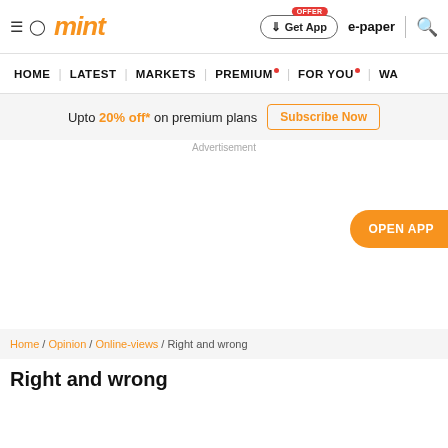mint | ≡ | Get App | OFFER | e-paper | search
HOME | LATEST | MARKETS | PREMIUM | FOR YOU | WA...
Upto 20% off* on premium plans  Subscribe Now
Advertisement
OPEN APP
Home / Opinion / Online-views / Right and wrong
Right and wrong